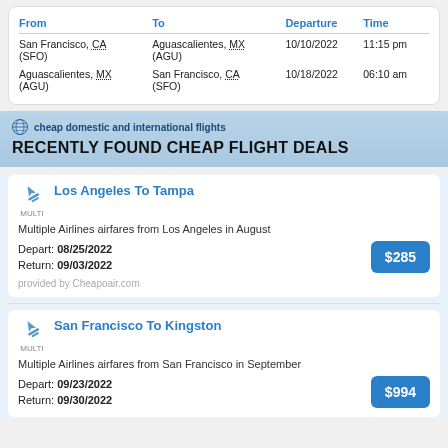| From | To | Departure | Time |
| --- | --- | --- | --- |
| San Francisco, CA (SFO) | Aguascalientes, MX (AGU) | 10/10/2022 | 11:15 pm |
| Aguascalientes, MX (AGU) | San Francisco, CA (SFO) | 10/18/2022 | 06:10 am |
cheap domestic and international flights
RECENTLY FOUND CHEAP FLIGHT DEALS
Los Angeles To Tampa
Multiple Airlines airfares from Los Angeles in August
Depart: 08/25/2022
Return: 09/03/2022
$285
provided by Cheapoair.com
San Francisco To Kingston
Multiple Airlines airfares from San Francisco in September
Depart: 09/23/2022
Return: 09/30/2022
$994